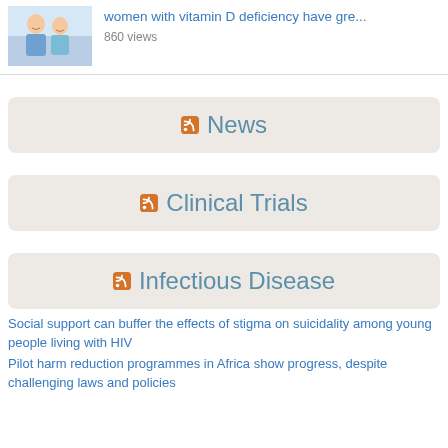[Figure (photo): Photo of a smiling older couple, man and woman, in casual clothing]
women with vitamin D deficiency have gre...
860 views
News
Clinical Trials
Infectious Disease
Social support can buffer the effects of stigma on suicidality among young people living with HIV
Pilot harm reduction programmes in Africa show progress, despite challenging laws and policies